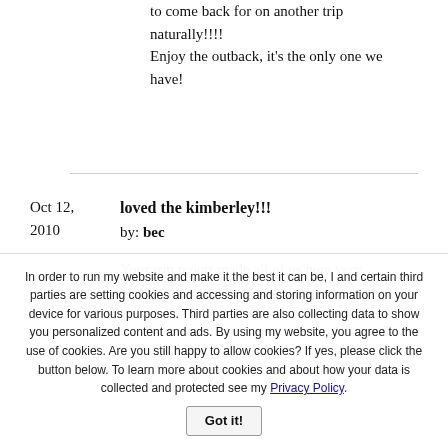to come back for on another trip naturally!!!!
Enjoy the outback, it's the only one we have!
Oct 12, 2010
loved the kimberley!!!
by: bec
Your trip report made all of us here very nostalgic! We did it all last year -
In order to run my website and make it the best it can be, I and certain third parties are setting cookies and accessing and storing information on your device for various purposes. Third parties are also collecting data to show you personalized content and ads. By using my website, you agree to the use of cookies. Are you still happy to allow cookies? If yes, please click the button below. To learn more about cookies and about how your data is collected and protected see my Privacy Policy.